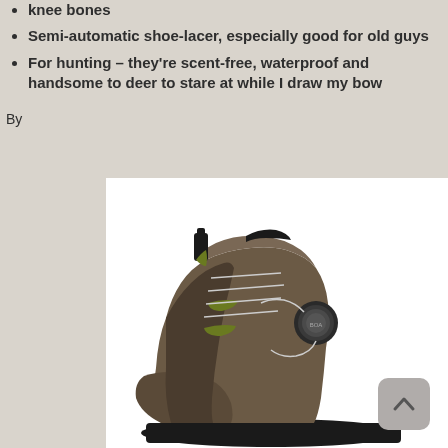knee bones
Semi-automatic shoe-lacer, especially good for old guys
For hunting – they're scent-free, waterproof and handsome to deer to stare at while I draw my bow
By
[Figure (photo): Close-up photograph of a brown/tan hiking boot with a BOA lacing system dial on the side, black accents, and green trim details, shown against a white background.]